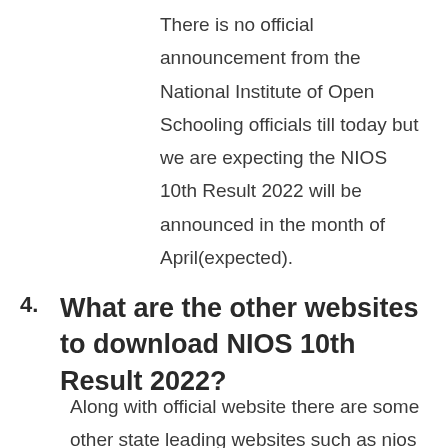There is no official announcement from the National Institute of Open Schooling officials till today but we are expecting the NIOS 10th Result 2022 will be announced in the month of April(expected).
4. What are the other websites to download NIOS 10th Result 2022?
Along with official website there are some other state leading websites such as nios official website, bharatstudent,